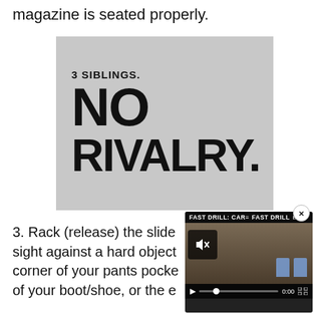magazine is seated properly.
[Figure (illustration): Promotional image on gray background with bold black text reading: '3 SIBLINGS. NO RIVALRY.' with a small pistol silhouette icon embedded in the text.]
3. Rack (release) the slide sight against a hard object corner of your pants pocket of your boot/shoe, or the e
[Figure (screenshot): Video overlay showing 'FAST DRILL: CAR' with shooting range scene, two blue targets, mute button, play button, progress bar showing 0:00, and fullscreen icon.]